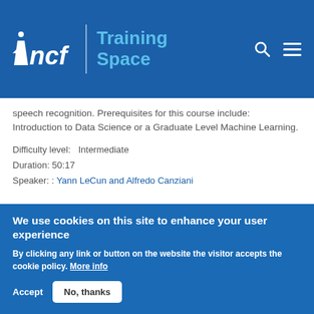incf | Training Space
speech recognition. Prerequisites for this course include: Introduction to Data Science or a Graduate Level Machine Learning.
Difficulty level:   Intermediate
Duration: 50:17
Speaker: : Yann LeCun and Alfredo Canziani
Gradient descent and the backpropagation
We use cookies on this site to enhance your user experience
By clicking any link or button on the website the visitor accepts the cookie policy. More info
Accept   No, thanks